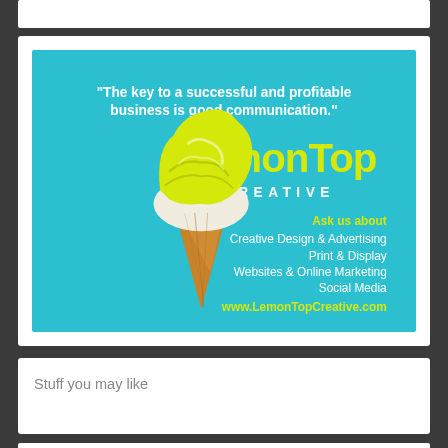[Figure (illustration): LemonTop Creative advertisement on teal/cyan background. Shows an ice cream cone illustration (yellow lemon ice cream swirl on a brown waffle cone). Text reads: 'The key to a successful and profitable business is good communication.' with LemonTop Creative logo and services listed: Creative Design & Advertising, Print & Display, Websites & Online Marketing, Social Media. URL: www.LemonTopCreative.com]
Stuff you may like